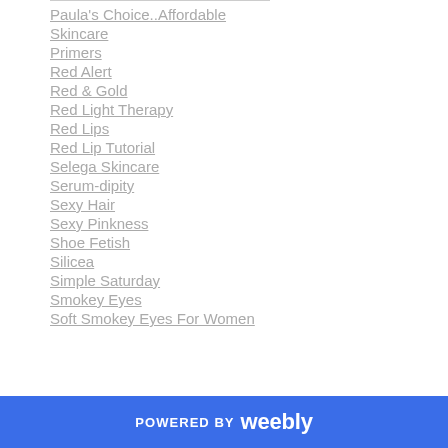Paula's Choice..Affordable
Skincare
Primers
Red Alert
Red & Gold
Red Light Therapy
Red Lips
Red Lip Tutorial
Selega Skincare
Serum-dipity
Sexy Hair
Sexy Pinkness
Shoe Fetish
Silicea
Simple Saturday
Smokey Eyes
Soft Smokey Eyes For Women
POWERED BY weebly